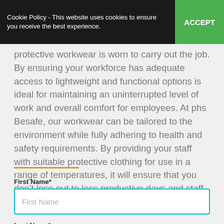Cookie Policy - This website uses cookies to ensure you receive the best experience. ACCEPT
protective workwear is worn to carry out the job. By ensuring your workforce has adequate access to lightweight and functional options is ideal for maintaining an uninterrupted level of work and overall comfort for employees. At phs Besafe, our workwear can be tailored to the environment while fully adhering to health and safety requirements. By providing your staff with suitable protective clothing for use in a range of temperatures, it will ensure that you don't lose out to less productive days and staff absences.
First Name*
Last Name*